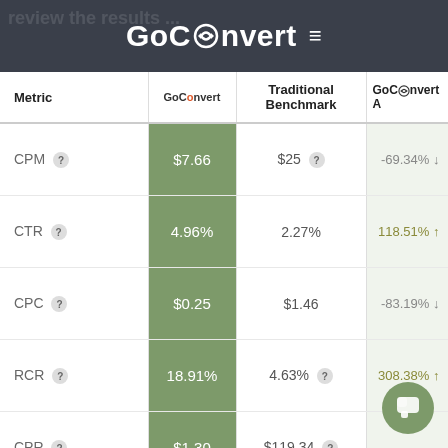GoConvert
| Metric | GoConvert | Traditional Benchmark | GoConvert A |
| --- | --- | --- | --- |
| CPM ? | $7.66 | $25 ? | -69.34% ↓ |
| CTR ? | 4.96% | 2.27% | 118.51% ↑ |
| CPC ? | $0.25 | $1.46 | -83.19% ↓ |
| RCR ? | 18.91% | 4.63% ? | 308.38% ↑ |
| CPR ? | $1.30 | $119.34 ? | ↓ |
| IGRCR ? | 2.02% | 3.43% ? | -41.01% |